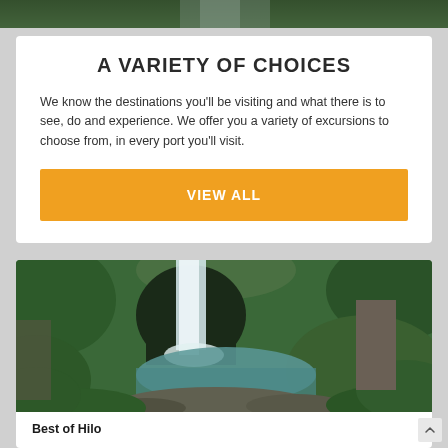[Figure (photo): Top strip of a nature/waterfall scene, partially visible]
A VARIETY OF CHOICES
We know the destinations you'll be visiting and what there is to see, do and experience. We offer you a variety of excursions to choose from, in every port you'll visit.
[Figure (other): Orange button labeled VIEW ALL]
[Figure (photo): Waterfall flowing into a rocky pool surrounded by lush green tropical vegetation]
Best of Hilo